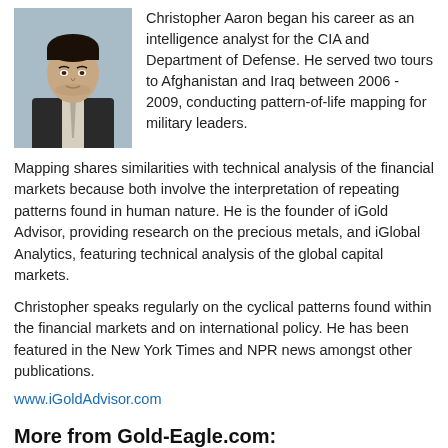[Figure (photo): Headshot of Christopher Aaron, a man in a dark suit with a light tie, against a light background.]
Christopher Aaron began his career as an intelligence analyst for the CIA and Department of Defense. He served two tours to Afghanistan and Iraq between 2006 - 2009, conducting pattern-of-life mapping for military leaders.
Mapping shares similarities with technical analysis of the financial markets because both involve the interpretation of repeating patterns found in human nature. He is the founder of iGold Advisor, providing research on the precious metals, and iGlobal Analytics, featuring technical analysis of the global capital markets.
Christopher speaks regularly on the cyclical patterns found within the financial markets and on international policy. He has been featured in the New York Times and NPR news amongst other publications.
www.iGoldAdvisor.com
More from Gold-Eagle.com:
The Recent Price Earnings Ratio Is Forecasting A Stock Market CRASH   By CMV Group
War & Inflation: Rally Time For Gold?   By Stewart Thomson